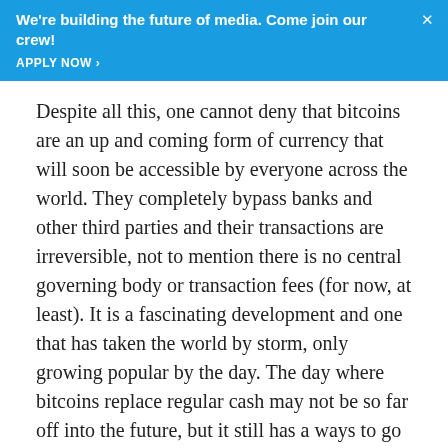We're building the future of media. Come join our crew! APPLY NOW ›
Despite all this, one cannot deny that bitcoins are an up and coming form of currency that will soon be accessible by everyone across the world. They completely bypass banks and other third parties and their transactions are irreversible, not to mention there is no central governing body or transaction fees (for now, at least). It is a fascinating development and one that has taken the world by storm, only growing popular by the day. The day where bitcoins replace regular cash may not be so far off into the future, but it still has a ways to go before it can get there.
[Figure (other): Broken/missing image placeholder icon]